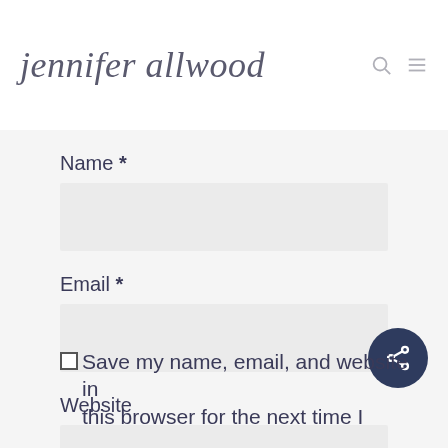jennifer allwood
Name *
Email *
Website
Save my name, email, and website in this browser for the next time I comment.